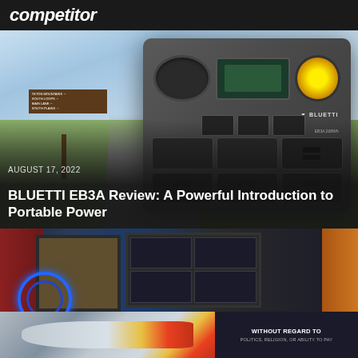competitor
[Figure (photo): BLUETTI EB3A portable power station photographed outdoors against a mountain landscape background with blue sky and green fields. A road sign is visible on the left. The power station shows multiple ports, USB ports, AC outlets, a display screen, and the BLUETTI logo. Text overlay shows date and article title.]
AUGUST 17, 2022
BLUETTI EB3A Review: A Powerful Introduction to Portable Power
[Figure (photo): Interior room scene with framed pictures on wall, electric guitars, and a blue neon circle light. A dark equipment panel is visible in the center.]
[Figure (photo): Advertisement banner showing an airplane (Southwest Airlines livery) on the left and dark background with text on the right reading WITHOUT REGARD TO POLITICS, RELIGION, OR ABILITY TO PAY]